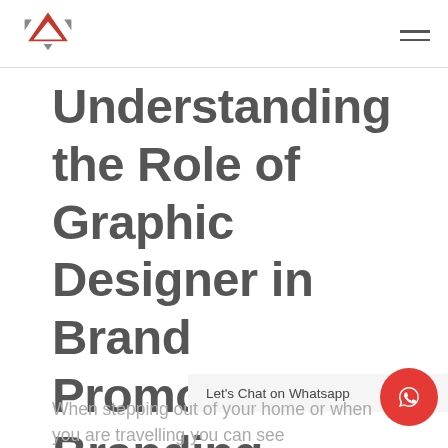Logo and navigation header
Understanding the Role of Graphic Designer in Brand Promotion and Branding
When stepping out of your home or when you are travelling you can see